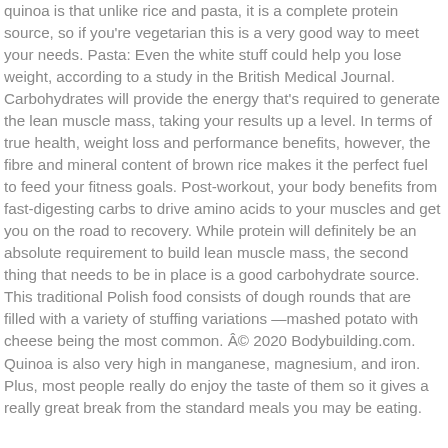quinoa is that unlike rice and pasta, it is a complete protein source, so if you're vegetarian this is a very good way to meet your needs. Pasta: Even the white stuff could help you lose weight, according to a study in the British Medical Journal. Carbohydrates will provide the energy that's required to generate the lean muscle mass, taking your results up a level. In terms of true health, weight loss and performance benefits, however, the fibre and mineral content of brown rice makes it the perfect fuel to feed your fitness goals. Post-workout, your body benefits from fast-digesting carbs to drive amino acids to your muscles and get you on the road to recovery. While protein will definitely be an absolute requirement to build lean muscle mass, the second thing that needs to be in place is a good carbohydrate source. This traditional Polish food consists of dough rounds that are filled with a variety of stuffing variations —mashed potato with cheese being the most common. © 2020 Bodybuilding.com. Quinoa is also very high in manganese, magnesium, and iron. Plus, most people really do enjoy the taste of them so it gives a really great break from the standard meals you may be eating.